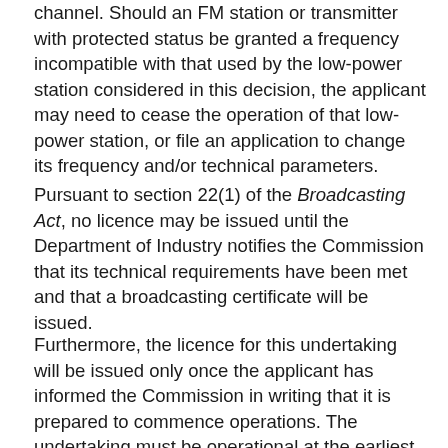secondary assignment operating on an unprotected channel. Should an FM station or transmitter with protected status be granted a frequency incompatible with that used by the low-power station considered in this decision, the applicant may need to cease the operation of that low-power station, or file an application to change its frequency and/or technical parameters.
Pursuant to section 22(1) of the Broadcasting Act, no licence may be issued until the Department of Industry notifies the Commission that its technical requirements have been met and that a broadcasting certificate will be issued.
Furthermore, the licence for this undertaking will be issued only once the applicant has informed the Commission in writing that it is prepared to commence operations. The undertaking must be operational at the earliest possible date and in any event no later than 24 months from the date of this decision, unless a request for an extension of time is approved by the Commission before 26 July 2021.